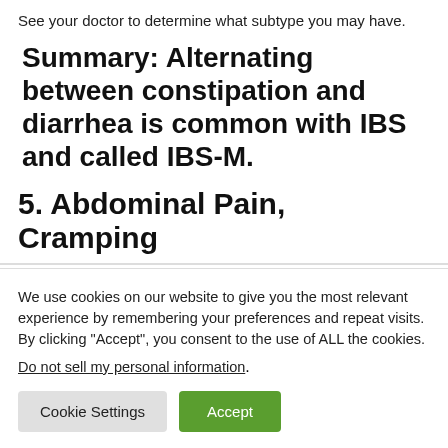See your doctor to determine what subtype you may have.
Summary: Alternating between constipation and diarrhea is common with IBS and called IBS-M.
5. Abdominal Pain, Cramping
We use cookies on our website to give you the most relevant experience by remembering your preferences and repeat visits. By clicking “Accept”, you consent to the use of ALL the cookies.
Do not sell my personal information.